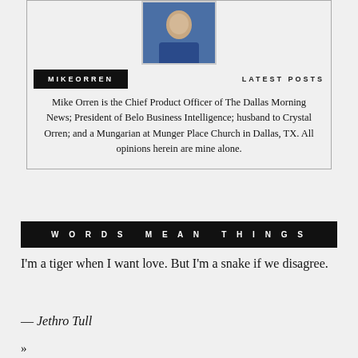[Figure (photo): Headshot photo of Mike Orren in a blue suit jacket]
MIKEORREN   LATEST POSTS
Mike Orren is the Chief Product Officer of The Dallas Morning News; President of Belo Business Intelligence; husband to Crystal Orren; and a Mungarian at Munger Place Church in Dallas, TX. All opinions herein are mine alone.
WORDS MEAN THINGS
I'm a tiger when I want love. But I'm a snake if we disagree.
— Jethro Tull
»